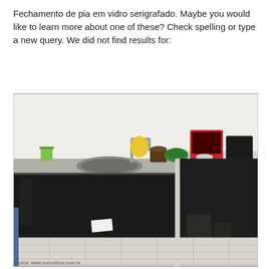Fechamento de pia em vidro serigrafado. Maybe you would like to learn more about one of these? Check spelling or type a new query. We did not find results for:
[Figure (photo): A kitchen sink area with dark tinted/screen-printed glass (vidro serigrafado) panels used as cabinet fronts below the countertop. The countertop is stainless steel with a sink and various kitchen items on top. The floor is tiled. The glass panels are nearly black/opaque.]
Source: www.sorovidros.com.br